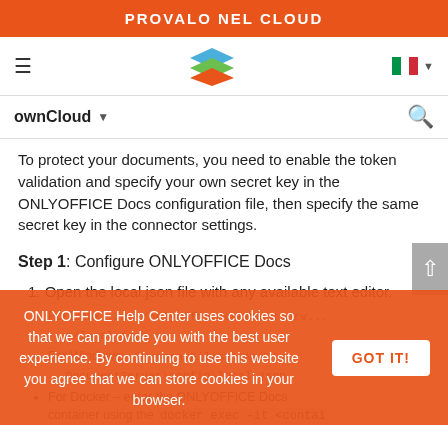PROVALO NEL CLOUD
[Figure (logo): ONLYOFFICE stack logo in nav bar with hamburger menu and Italian flag]
ownCloud
To protect your documents, you need to enable the token validation and specify your own secret key in the ONLYOFFICE Docs configuration file, then specify the same secret key in the connector settings.
Step 1: Configure ONLYOFFICE Docs
1. Open the local.json file with any available text editor.
For Linux – /etc/onlyoffice/documentserv...r/local.json
For Windows – %ProgramFiles%\ONLYOF...DocumentServer\config\local.json
For Docker – enter the ONLYOFFICE Docs container using the docker exec -it <contai
ONLYOFFICE Help Center uses cookies so that we can provide you with the best user experience. By continuing to use this website you agree that we can store cookies in your browser.